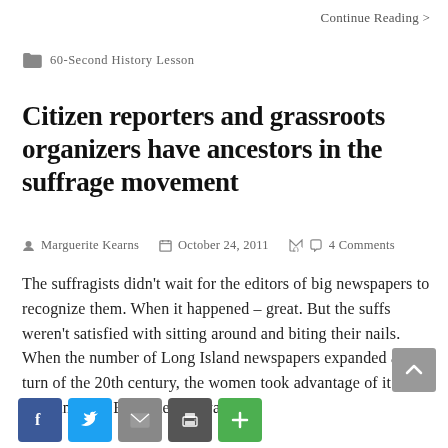Continue Reading >
🗂 60-Second History Lesson
Citizen reporters and grassroots organizers have ancestors in the suffrage movement
Marguerite Kearns  October 24, 2011  4 Comments
The suffragists didn't wait for the editors of big newspapers to recognize them. When it happened – great. But the suffs weren't satisfied with sitting around and biting their nails. When the number of Long Island newspapers expanded at the turn of the 20th century, the women took advantage of it. Grandmother Edna Kearns was in...